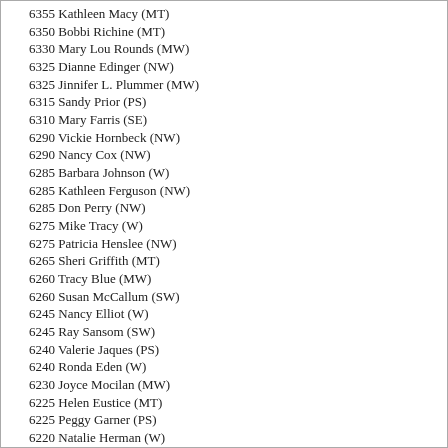6355 Kathleen Macy (MT)
6350 Bobbi Richine (MT)
6330 Mary Lou Rounds (MW)
6325 Dianne Edinger (NW)
6325 Jinnifer L. Plummer (MW)
6315 Sandy Prior (PS)
6310 Mary Farris (SE)
6290 Vickie Hornbeck (NW)
6290 Nancy Cox (NW)
6285 Barbara Johnson (W)
6285 Kathleen Ferguson (NW)
6285 Don Perry (NW)
6275 Mike Tracy (W)
6275 Patricia Henslee (NW)
6265 Sheri Griffith (MT)
6260 Tracy Blue (MW)
6260 Susan McCallum (SW)
6245 Nancy Elliot (W)
6245 Ray Sansom (SW)
6240 Valerie Jaques (PS)
6240 Ronda Eden (W)
6230 Joyce Mocilan (MW)
6225 Helen Eustice (MT)
6225 Peggy Garner (PS)
6220 Natalie Herman (W)
6220 Michelle Mattingley (MW)
6220 Jacob Cukjati (W)
6205 Ruth Carlson (NW)
6200 Debra Lynne Gilbert (NE)
6195 Amy Ford (SW)
6190 Karen Vilander (W)
6185 Jan Wright (CT)
6185 Anne Liddell (SE)